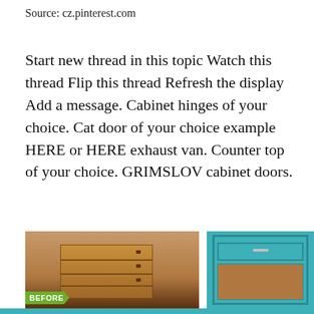Source: cz.pinterest.com
Start new thread in this topic Watch this thread Flip this thread Refresh the display Add a message. Cabinet hinges of your choice. Cat door of your choice example HERE or HERE exhaust van. Counter top of your choice. GRIMSLOV cabinet doors.
[Figure (photo): Before photo of a wooden dresser with 4 drawers in a garage setting with a bicycle in the background. A green arrow label reads BEFORE.]
[Figure (photo): After photo of a teal/turquoise painted cabinet with a drawer on top and open compartment below.]